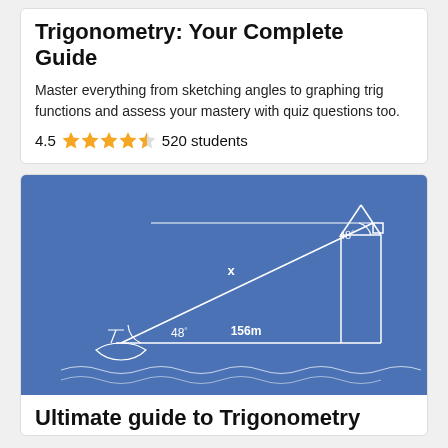Trigonometry: Your Complete Guide
Master everything from sketching angles to graphing trig functions and assess your mastery with quiz questions too.
4.5 ★★★★☆ 520 students
[Figure (illustration): Blue background engineering-style diagram showing a right triangle problem: a boat at bottom left, a tall building/lighthouse at bottom right, a horizontal line between them labeled 156m, a diagonal line labeled X going from the boat up to the top of the building, angle of 48° at the boat and 48° at the top, with a square at the top.]
Ultimate guide to Trigonometry